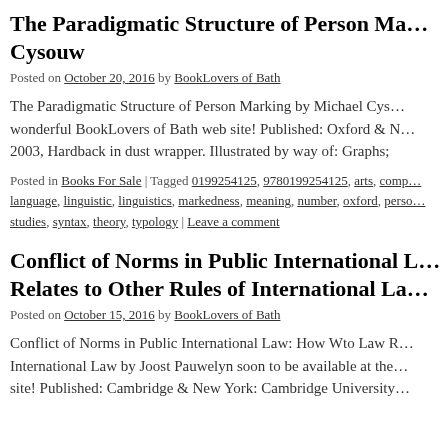The Paradigmatic Structure of Person Marking by Michael Cysouw
Posted on October 20, 2016 by BookLovers of Bath
The Paradigmatic Structure of Person Marking by Michael Cysouw... wonderful BookLovers of Bath web site! Published: Oxford & New York 2003, Hardback in dust wrapper. Illustrated by way of: Graphs;
Posted in Books For Sale | Tagged 0199254125, 9780199254125, arts, comp... language, linguistic, linguistics, markedness, meaning, number, oxford, perso... studies, syntax, theory, typology | Leave a comment
Conflict of Norms in Public International Law: How Wto Law Relates to Other Rules of International Law
Posted on October 15, 2016 by BookLovers of Bath
Conflict of Norms in Public International Law: How Wto Law R... International Law by Joost Pauwelyn soon to be available at the... site! Published: Cambridge & New York: Cambridge University...